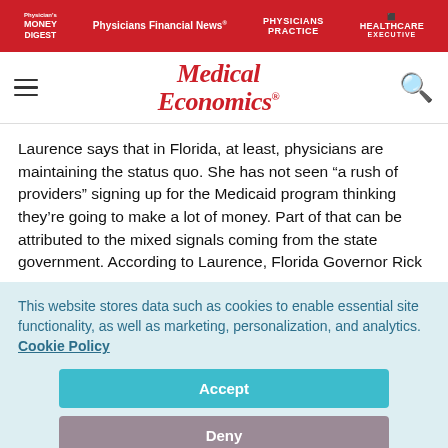Physician's Money Digest | Physicians Financial News | Physicians Practice | Healthcare Executive
[Figure (logo): Medical Economics logo with hamburger menu and search icon]
Laurence says that in Florida, at least, physicians are maintaining the status quo. She has not seen “a rush of providers” signing up for the Medicaid program thinking they’re going to make a lot of money. Part of that can be attributed to the mixed signals coming from the state government. According to Laurence, Florida Governor Rick
This website stores data such as cookies to enable essential site functionality, as well as marketing, personalization, and analytics. Cookie Policy
Accept
Deny